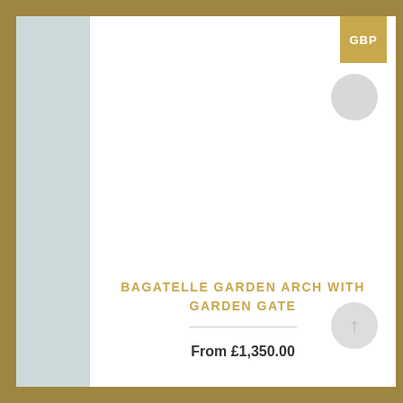BAGATELLE GARDEN ARCH WITH GARDEN GATE
From £1,350.00